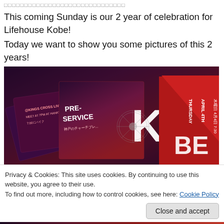□□□□□□□□□□□□□□□□□□□□□□□□□□□□
This coming Sunday is our 2 year of celebration for Lifehouse Kobe!
Today we want to show you some pictures of this 2 years!
[Figure (photo): Photo of stacked event flyers/cards for Lifehouse Kobe pre-service events, showing red and dark purple cards with text including 'KO PRE-SERVICE', 'THURSDAY APRIL 4TH', Kings Cross Livehouse Kobe, Japanese text, and a circular ferris wheel image]
Privacy & Cookies: This site uses cookies. By continuing to use this website, you agree to their use.
To find out more, including how to control cookies, see here: Cookie Policy
Close and accept
[Figure (photo): Bottom strip showing partial photo with text 'EXCITING LIVE MUSIC' and Japanese text, dark red/purple background]